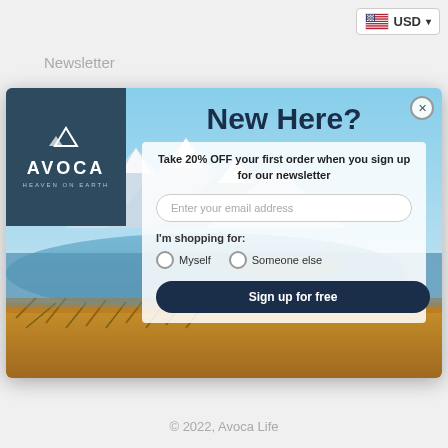USD
Newsletter
[Figure (screenshot): Avoca newsletter signup modal popup over a landscape background showing mountains, lake, and golden grass. Contains Avoca logo (Heaven on Earth), New Here? heading, 20% OFF offer text, email input, shopping preference radio buttons (Myself / Someone else), and Sign up for free button.]
© 2022, Avoca Life